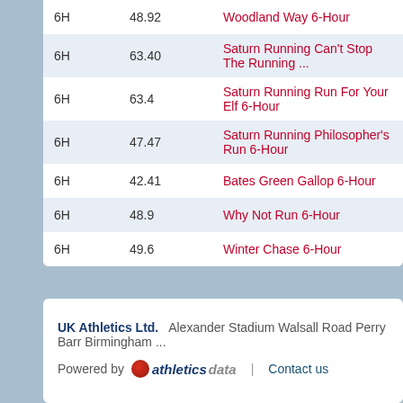| Event | Distance | Race Name |
| --- | --- | --- |
| 6H | 48.92 | Woodland Way 6-Hour |
| 6H | 63.40 | Saturn Running Can't Stop The Running ... |
| 6H | 63.4 | Saturn Running Run For Your Elf 6-Hour |
| 6H | 47.47 | Saturn Running Philosopher's Run 6-Hour |
| 6H | 42.41 | Bates Green Gallop 6-Hour |
| 6H | 48.9 | Why Not Run 6-Hour |
| 6H | 49.6 | Winter Chase 6-Hour |
UK Athletics Ltd. Alexander Stadium Walsall Road Perry Barr Birmingham | Powered by athleticsdata | Contact us